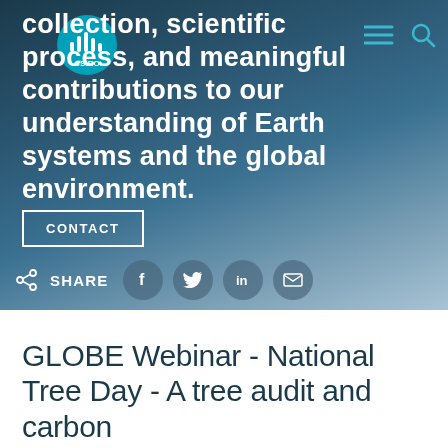CSIRO logo and navigation
collection, scientific process, and meaningful contributions to our understanding of Earth systems and the global environment.
CONTACT
SHARE
GLOBE Webinar - National Tree Day - A tree audit and carbon storage activity